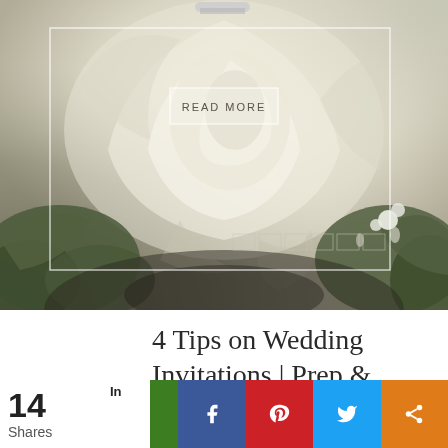[Figure (photo): White rose close-up photograph with green leaves and small white flowers in background, with a thin white rectangular border overlay and a 'READ MORE' button in the center, plus small square pagination indicators near the bottom]
4 Tips on Wedding Invitations | Prep & Ordering
14 Shares
[Figure (infographic): Social share bar with green, Facebook (blue), Pinterest (red), Twitter (blue), and share (orange) buttons showing social media icons]